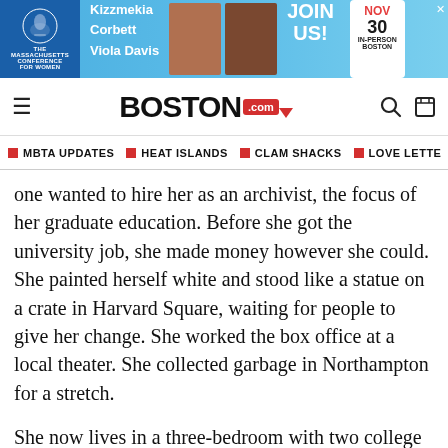[Figure (screenshot): Advertisement banner for The Massachusetts Conference for Women featuring Kizzmekia Corbett and Viola Davis, with text JOIN US! NOV 30 IN-PERSON BOSTON]
BOSTON.com
MBTA UPDATES
HEAT ISLANDS
CLAM SHACKS
LOVE LETTE
one wanted to hire her as an archivist, the focus of her graduate education. Before she got the university job, she made money however she could. She painted herself white and stood like a statue on a crate in Harvard Square, waiting for people to give her change. She worked the box office at a local theater. She collected garbage in Northampton for a stretch.
She now lives in a three-bedroom with two college students who sometimes have trouble remembering to replace the toilet paper.